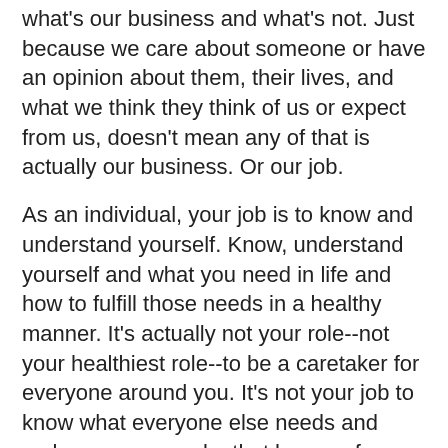what's our business and what's not. Just because we care about someone or have an opinion about them, their lives, and what we think they think of us or expect from us, doesn't mean any of that is actually our business. Or our job.
As an individual, your job is to know and understand yourself. Know, understand yourself and what you need in life and how to fulfill those needs in a healthy manner. It's actually not your role--not your healthiest role--to be a caretaker for everyone around you. It's not your job to know what everyone else needs and make sure you make that happen for them. That's their job. That's their personal work and area of personal growth. Get out of the way and let them have at it.
Yet, when we are trapped in our anxious